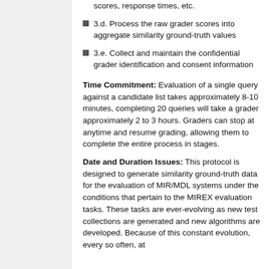scores, response times, etc.
3.d. Process the raw grader scores into aggregate similarity ground-truth values
3.e. Collect and maintain the confidential grader identification and consent information
Time Commitment: Evaluation of a single query against a candidate list takes approximately 8-10 minutes, completing 20 queries will take a grader approximately 2 to 3 hours. Graders can stop at anytime and resume grading, allowing them to complete the entire process in stages.
Date and Duration Issues: This protocol is designed to generate similarity ground-truth data for the evaluation of MIR/MDL systems under the conditions that pertain to the MIREX evaluation tasks. These tasks are ever-evolving as new test collections are generated and new algorithms are developed. Because of this constant evolution, every so often, at